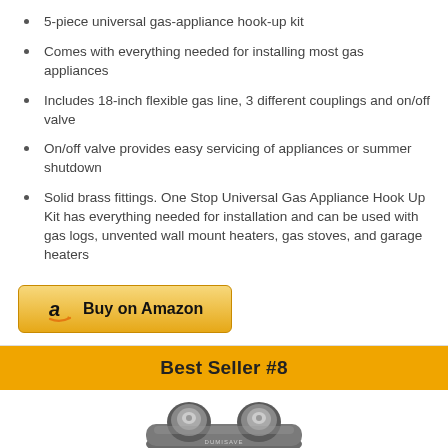5-piece universal gas-appliance hook-up kit
Comes with everything needed for installing most gas appliances
Includes 18-inch flexible gas line, 3 different couplings and on/off valve
On/off valve provides easy servicing of appliances or summer shutdown
Solid brass fittings. One Stop Universal Gas Appliance Hook Up Kit has everything needed for installation and can be used with gas logs, unvented wall mount heaters, gas stoves, and garage heaters
[Figure (other): Buy on Amazon button with Amazon logo]
Best Seller #8
[Figure (photo): Product photo of a gas appliance component, appears to be a dual-knob gas valve or connector, metallic/chrome finish]